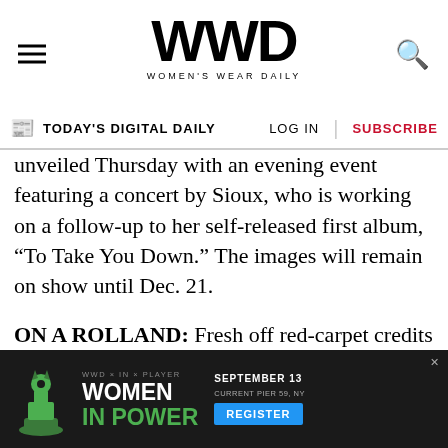WWD — Women's Wear Daily
TODAY'S DIGITAL DAILY | LOG IN | SUBSCRIBE
unveiled Thursday with an evening event featuring a concert by Sioux, who is working on a follow-up to her self-released first album, “To Take You Down.” The images will remain on show until Dec. 21.
ON A ROLLAND: Fresh off red-carpet credits for Rihanna, Lady Gaga and Beyoncé for award shows earlier this year, Stéphane Rolland will be the fifth French couturier to get a runway retrospective at the Victoria and Albert Museum in London. Forty of his couture dresses will be paraded Dec. 10 as
[Figure (advertisement): WWD x In x Player Women in Power event ad. September 13, Current Pier 59, NY. Register button. Chess queen piece graphic.]